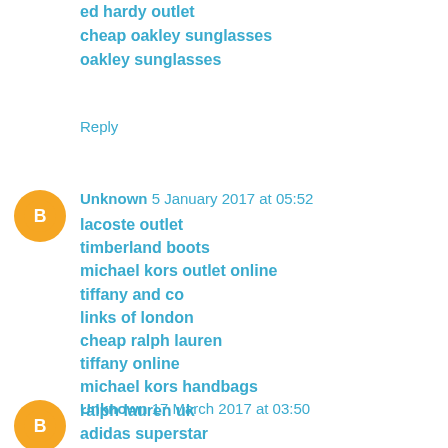ed hardy outlet
cheap oakley sunglasses
oakley sunglasses
Reply
Unknown  5 January 2017 at 05:52
lacoste outlet
timberland boots
michael kors outlet online
tiffany and co
links of london
cheap ralph lauren
tiffany online
michael kors handbags
ralph lauren uk
adidas superstar
Reply
Unknown  17 March 2017 at 03:50